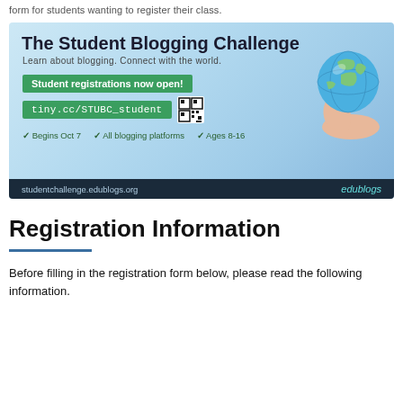form for students wanting to register their class.
[Figure (illustration): The Student Blogging Challenge banner. Blue gradient background with globe held in hands on the right. Title: 'The Student Blogging Challenge'. Subtitle: 'Learn about blogging. Connect with the world.' Green boxes showing 'Student registrations now open!' and 'tiny.cc/STUBC_student' with QR code. Check marks: Begins Oct 7, All blogging platforms, Ages 8-16. Footer: studentchallenge.edublogs.org / edublogs logo.]
Registration Information
Before filling in the registration form below, please read the following information.